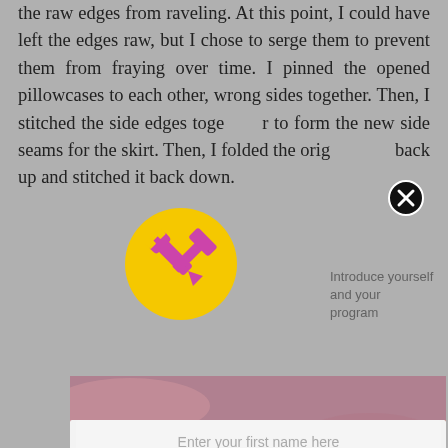the raw edges from raveling. At this point, I could have left the edges raw, but I chose to serge them to prevent them from fraying over time. I pinned the opened pillowcases to each other, wrong sides together. Then, I stitched the side edges together to form the new side seams for the skirt. Then, I folded the orig[inal hem] back up and stitched it back down.
[Figure (screenshot): A popup modal overlaying the page. It contains a yellow circle icon with crossed wrench and hammer (tools icon) in the upper left, a close X button in the upper right, placeholder text 'Introduce yourself and your program', an input field labeled 'Enter your first name here', an input field labeled 'Enter a valid email here', and a teal Subscribe button. Below the modal is a photo of mauve/dusty rose fabric on a wood floor.]